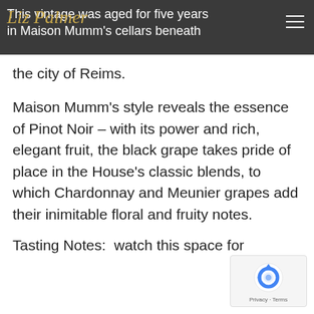Liz Palmer
This vintage was aged for five years in Maison Mumm's cellars beneath the city of Reims.
Maison Mumm's style reveals the essence of Pinot Noir – with its power and rich, elegant fruit, the black grape takes pride of place in the House's classic blends, to which Chardonnay and Meunier grapes add their inimitable floral and fruity notes.
Tasting Notes:  watch this space for